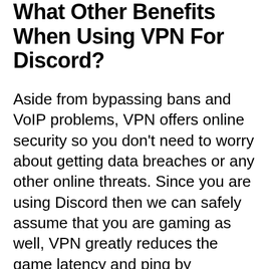What Other Benefits When Using VPN For Discord?
Aside from bypassing bans and VoIP problems, VPN offers online security so you don't need to worry about getting data breaches or any other online threats. Since you are using Discord then we can safely assume that you are gaming as well, VPN greatly reduces the game latency and ping by connecting to servers that are closest to the game server for a faster connection. It would greatly affect your gaming experience and Discord communication at the same time.